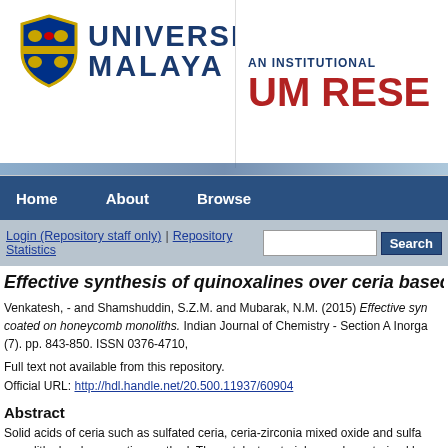[Figure (logo): Universiti Malaya logo with shield and text, alongside 'An Institutional UM RESE...' banner]
Home   About   Browse
Login (Repository staff only) | Repository Statistics   [Search box] Search
Effective synthesis of quinoxalines over ceria based soli...
Venkatesh, - and Shamshuddin, S.Z.M. and Mubarak, N.M. (2015) Effective syn... coated on honeycomb monoliths. Indian Journal of Chemistry - Section A Inorga... (7). pp. 843-850. ISSN 0376-4710,
Full text not available from this repository.
Official URL: http://hdl.handle.net/20.500.11937/60904
Abstract
Solid acids of ceria such as sulfated ceria, ceria-zirconia mixed oxide and sulfa... monoliths by slurry coating method. The catalyst materials are characterized by... crystallinity and SEM for morphology. These materials are used as solid acid ca...